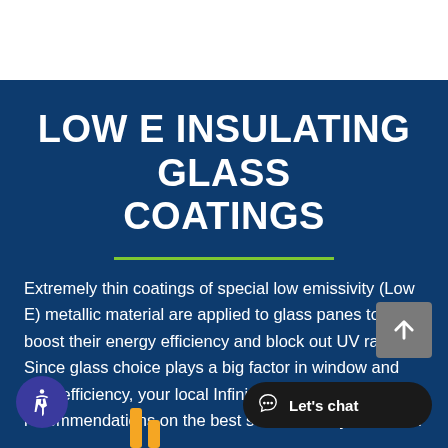LOW E INSULATING GLASS COATINGS
Extremely thin coatings of special low emissivity (Low E) metallic material are applied to glass panes to boost their energy efficiency and block out UV rays. Since glass choice plays a big factor in window and door efficiency, your local Infinity partner can provide recommendations on the best selection for your home.